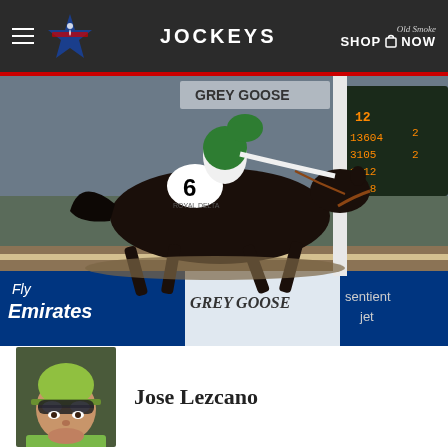JOCKEYS
[Figure (photo): Horse racing photo showing a dark horse numbered 6 with a jockey in green silks and helmet, galloping past the finish area at a racetrack. Advertising banners visible reading 'Fly Emirates', 'GREY GOOSE', and 'sentient jet'. Scoreboard visible in background.]
[Figure (photo): Headshot portrait of jockey Jose Lezcano wearing a bright green helmet and goggles.]
Jose Lezcano